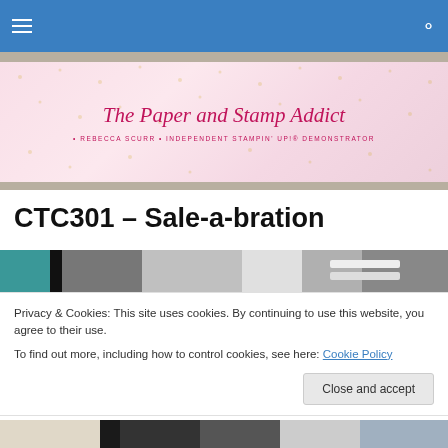Navigation bar with hamburger menu and search icon
[Figure (illustration): Blog banner with script text 'The Paper and Stamp Addict' on pink floral background with gold accents. Subtitle: Rebecca Scurr - Independent Stampin' Up! Demonstrator]
CTC301 – Sale-a-bration
[Figure (photo): Partial photo strip showing crafting supplies including teal tape, silver glitter paper, white ribbon]
Privacy & Cookies: This site uses cookies. By continuing to use this website, you agree to their use.
To find out more, including how to control cookies, see here: Cookie Policy
Close and accept
[Figure (photo): Bottom photo strip showing partial image of crafting products]